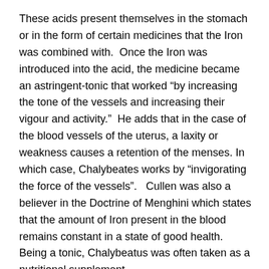These acids present themselves in the stomach or in the form of certain medicines that the Iron was combined with.  Once the Iron was introduced into the acid, the medicine became an astringent-tonic that worked “by increasing the tone of the vessels and increasing their vigour and activity.”  He adds that in the case of the blood vessels of the uterus, a laxity or weakness causes a retention of the menses. In which case, Chalybeates works by “invigorating the force of the vessels”.   Cullen was also a believer in the Doctrine of Menghini which states that the amount of Iron present in the blood remains constant in a state of good health.  Being a tonic, Chalybeatus was often taken as a nutritional supplement.
The following recipe for the Chalybeatus or Steel Electuary is given by Fuller: